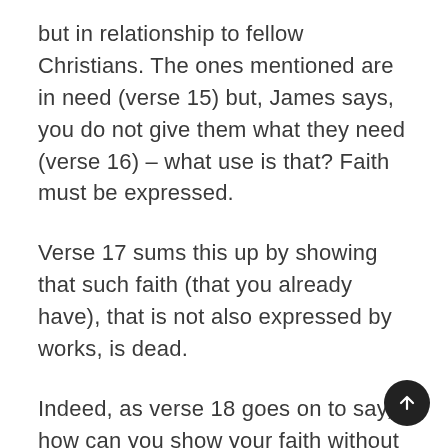but in relationship to fellow Christians. The ones mentioned are in need (verse 15) but, James says, you do not give them what they need (verse 16) – what use is that? Faith must be expressed.
Verse 17 sums this up by showing that such faith (that you already have), that is not also expressed by works, is dead.
Indeed, as verse 18 goes on to say, how can you show your faith without works?
Belief in God (verse 19) is fine but the demons do too; the point is that faith that is not expressed by works is